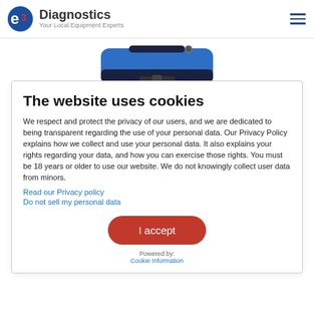e3 Diagnostics — Your Local Equipment Experts
[Figure (photo): Partial view of a blue diagnostic equipment bag/case]
Intoximeter RBT VXL
The website uses cookies
We respect and protect the privacy of our users, and we are dedicated to being transparent regarding the use of your personal data. Our Privacy Policy explains how we collect and use your personal data. It also explains your rights regarding your data, and how you can exercise those rights. You must be 18 years or older to use our website. We do not knowingly collect user data from minors.
Read our Privacy policy
Do not sell my personal data
I accept
Powered by: Cookie Information